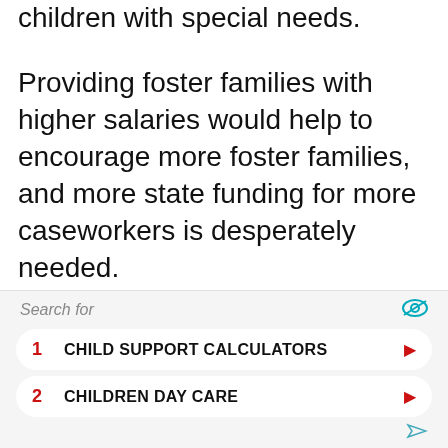children with special needs.
Providing foster families with higher salaries would help to encourage more foster families, and more state funding for more caseworkers is desperately needed.
Foster care systems in the United States work for some foster children, but not all. The foster care system should be improved so that more
[Figure (other): Advertisement widget with search bar header showing 'Search for' with eye icon, two clickable ad items: 1. CHILD SUPPORT CALCULATORS, 2. CHILDREN DAY CARE, each with red number, bold label, and red right-arrow button.]